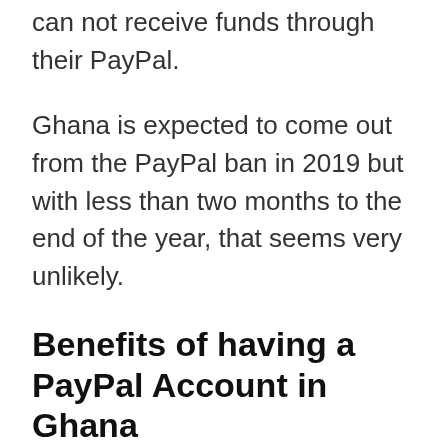can not receive funds through their PayPal.
Ghana is expected to come out from the PayPal ban in 2019 but with less than two months to the end of the year, that seems very unlikely.
Benefits of having a PayPal Account in Ghana
Why do most people love to use PayPal and not any other payment method? Well, it is because PayPal has been around for long and is robust and very trusted.